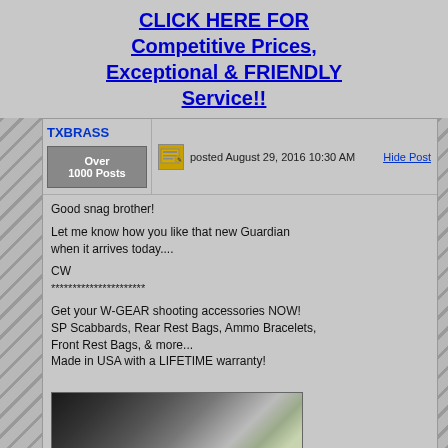CLICK HERE FOR Competitive Prices, Exceptional & FRIENDLY Service!!
TXBRASS
Over 1000 Posts
posted August 29, 2016 10:30 AM
Hide Post
Good snag brother!

Let me know how you like that new Guardian when it arrives today....

CW
**********************
Get your W-GEAR shooting accessories NOW! SP Scabbards, Rear Rest Bags, Ammo Bracelets, Front Rest Bags, & more...
Made in USA with a LIFETIME warranty!


www.codyweiser.com
[Figure (photo): Partial photo of rifle scopes/optics, dark metallic cylinders against a blurred green background]